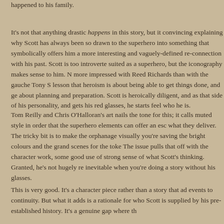happened to his family.
It's not that anything drastic happens in this story, but it convincingly explaining why Scott has always been so drawn to the superhero into something that symbolically offers him a more interesting and vaguely-defined re-connection with his past. Scott is too introverted suited as a superhero, but the iconography makes sense to him. more impressed with Reed Richards than with the gauche Tony S lesson that heroism is about being able to get things done, and ge about planning and preparation. Scott is heroically diligent, and as that side of his personality, and gets his red glasses, he starts feel who he is.
Tom Reilly and Chris O'Halloran's art nails the tone for this; it calls muted style in order that the superhero elements can offer an esc what they deliver. The tricky bit is to make the orphanage visually you're saving the bright colours and the grand scenes for the toke The issue pulls that off with the character work, some good use of strong sense of what Scott's thinking. Granted, he's not hugely re inevitable when you're doing a story without his glasses.
This is very good. It's a character piece rather than a story that ad events to continuity. But what it adds is a rationale for who Scott is supplied by his pre-established history. It's a genuine gap where t